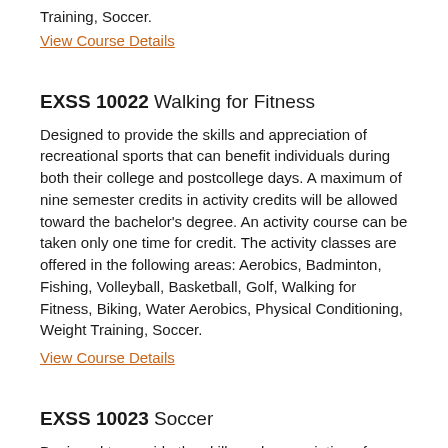Training, Soccer.
View Course Details
EXSS 10022 Walking for Fitness
Designed to provide the skills and appreciation of recreational sports that can benefit individuals during both their college and postcollege days. A maximum of nine semester credits in activity credits will be allowed toward the bachelor's degree. An activity course can be taken only one time for credit. The activity classes are offered in the following areas: Aerobics, Badminton, Fishing, Volleyball, Basketball, Golf, Walking for Fitness, Biking, Water Aerobics, Physical Conditioning, Weight Training, Soccer.
View Course Details
EXSS 10023 Soccer
Designed to provide the skills and appreciation of recreational sports that can benefit individuals during both their college and postcollege days. A maximum of nine semester credits in activity credits will be allowed toward the bachelor's degree. An activity course can be